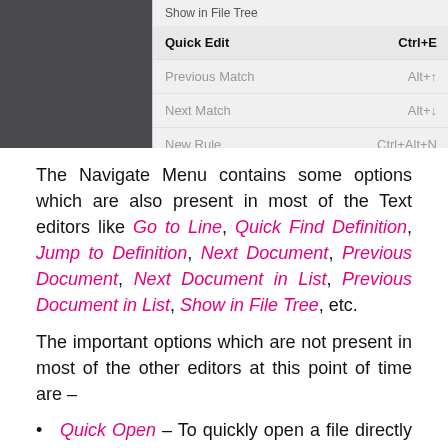[Figure (screenshot): Screenshot of a Navigate menu with dark left panel and light menu panel showing Quick Edit (Ctrl+E), Previous Match (Alt+↑), Next Match (Alt+↓), New Rule (Ctrl+Alt+N), Quick Docs (Ctrl+K)]
The Navigate Menu contains some options which are also present in most of the Text editors like Go to Line, Quick Find Definition, Jump to Definition, Next Document, Previous Document, Next Document in List, Previous Document in List, Show in File Tree, etc.
The important options which are not present in most of the other editors at this point of time are –
Quick Open – To quickly open a file directly from the work-space. This is a very good option and the shortcut is Ctrl+Shift+O. You should use this